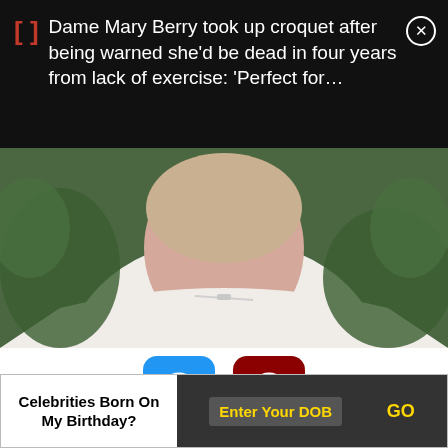[ ] Dame Mary Berry took up croquet after being warned she'd be dead in four years from lack of exercise: 'Perfect for…
[Figure (photo): Photo of a woman with light skin wearing a white top, green foliage in the background]
[Figure (infographic): Blue upvote button with up-arrow icon labeled 12, and dark red downvote button with down-arrow icon labeled 8]
Birth Year: 1947
Celebrities Born On My Birthday?
Enter Your DOB
GO